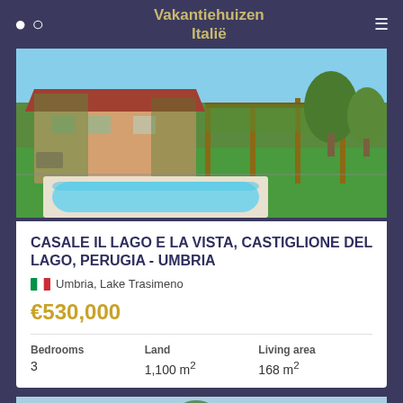Vakantiehuizen Italië
[Figure (photo): Exterior photo of a red-roofed Italian farmhouse with a swimming pool, lush green lawn, pergola with vines, and surrounding trees]
CASALE IL LAGO E LA VISTA, CASTIGLIONE DEL LAGO, PERUGIA - UMBRIA
Umbria, Lake Trasimeno
€530,000
| Bedrooms | Land | Living area |
| --- | --- | --- |
| 3 | 1,100 m² | 168 m² |